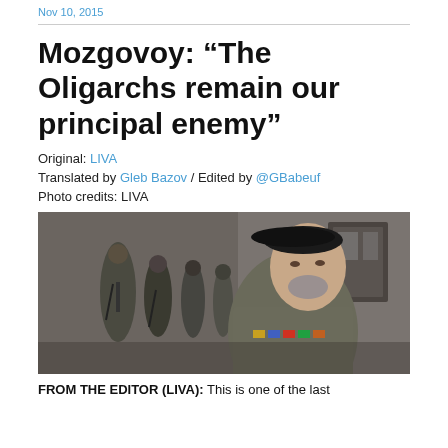Nov 10, 2015
Mozgovoy: “The Oligarchs remain our principal enemy”
Original: LIVA
Translated by Gleb Bazov / Edited by @GBabeuf
Photo credits: LIVA
[Figure (photo): A man in military uniform with medals stands in the foreground, wearing a black beret. Behind him are several armed soldiers in military gear, standing in front of a stone building.]
FROM THE EDITOR (LIVA): This is one of the last